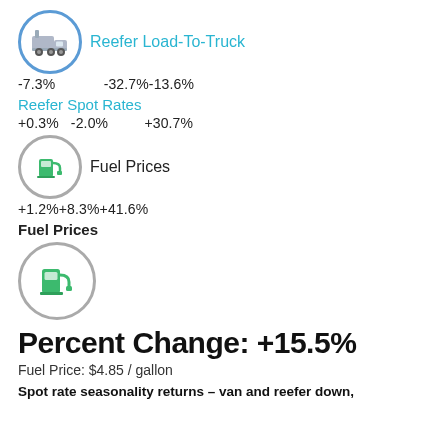[Figure (illustration): Truck icon in blue circle with label Reefer Load-To-Truck]
-7.3%   -32.7%-13.6%
Reefer Spot Rates
+0.3%  -2.0%       +30.7%
[Figure (illustration): Fuel pump icon in gray circle with label Fuel Prices]
+1.2%+8.3%+41.6%
Fuel Prices
[Figure (illustration): Fuel pump icon in gray circle (larger)]
Percent Change: +15.5%
Fuel Price: $4.85 / gallon
Spot rate seasonality returns – van and reefer down,